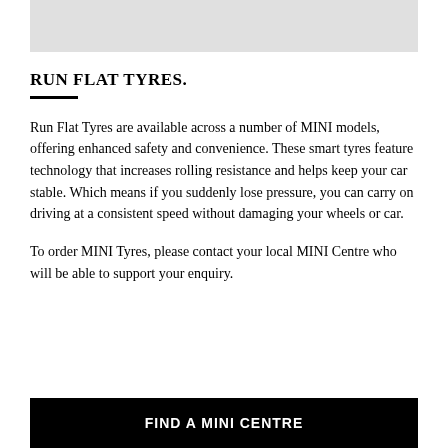[Figure (photo): Light grey rectangular image placeholder at top of page]
RUN FLAT TYRES.
Run Flat Tyres are available across a number of MINI models, offering enhanced safety and convenience. These smart tyres feature technology that increases rolling resistance and helps keep your car stable. Which means if you suddenly lose pressure, you can carry on driving at a consistent speed without damaging your wheels or car.
To order MINI Tyres, please contact your local MINI Centre who will be able to support your enquiry.
FIND A MINI CENTRE